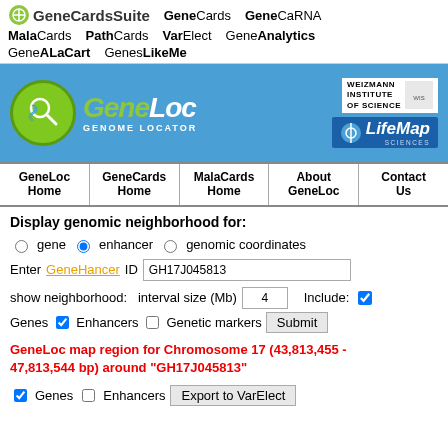GeneCardsSuite  GeneCards  GeneCaRNA  MalaCards  PathCards  VarElect  GeneAnalytics  GeneALaCart  GenesLikeMe
[Figure (screenshot): GeneCardsSuite navigation header with GeneCards, GeneCaRNA, MalaCards, PathCards, VarElect, GeneAnalytics, GeneALaCart, GenesLikeMe links]
[Figure (logo): GeneLoc Genome Locator logo on blue background with Weizmann Institute of Science and LifeMap Sciences logos]
GeneLoc Home | GeneCards Home | MalaCards Home | About GeneLoc | Contact Us
Display genomic neighborhood for:
gene  enhancer  genomic coordinates
Enter GeneHancer ID  GH17J045813
show neighborhood:  interval size (Mb)  4   Include:  Genes  Enhancers  Genetic markers  Submit
GeneLoc map region for Chromosome 17 (43,813,455 - 47,813,544 bp) around "GH17J045813"
Genes  Enhancers  Export to VarElect